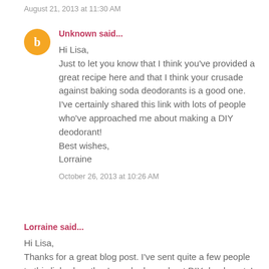August 21, 2013 at 11:30 AM
Unknown said...
Hi Lisa,
Just to let you know that I think you've provided a great recipe here and that I think your crusade against baking soda deodorants is a good one. I've certainly shared this link with lots of people who've approached me about making a DIY deodorant!
Best wishes,
Lorraine
October 26, 2013 at 10:26 AM
Lorraine said...
Hi Lisa,
Thanks for a great blog post. I've sent quite a few people to this link when they've asked me about DIY deodorants! Your crusade against baking soda deodorants is a good one, I'm sure